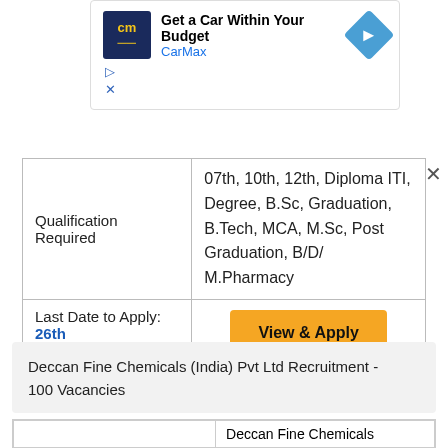[Figure (screenshot): CarMax advertisement banner: logo with 'cm', text 'Get a Car Within Your Budget', 'CarMax', blue navigation arrow icon, with play and close controls below.]
| Qualification Required | 07th, 10th, 12th, Diploma ITI, Degree, B.Sc, Graduation, B.Tech, MCA, M.Sc, Post Graduation, B/D/ M.Pharmacy |
| Last Date to Apply: 26th August 2022 | View & Apply |
Deccan Fine Chemicals (India) Pvt Ltd Recruitment - 100 Vacancies
|  | Deccan Fine Chemicals |